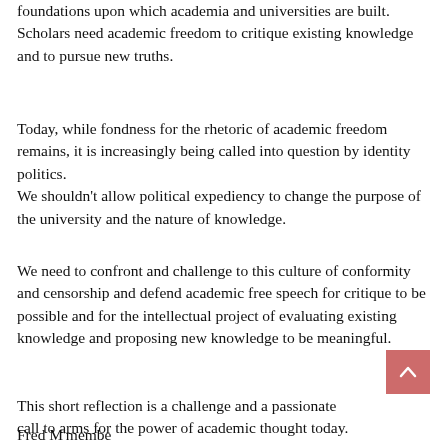foundations upon which academia and universities are built. Scholars need academic freedom to critique existing knowledge and to pursue new truths.
Today, while fondness for the rhetoric of academic freedom remains, it is increasingly being called into question by identity politics.
We shouldn't allow political expediency to change the purpose of the university and the nature of knowledge.
We need to confront and challenge to this culture of conformity and censorship and defend academic free speech for critique to be possible and for the intellectual project of evaluating existing knowledge and proposing new knowledge to be meaningful.
This short reflection is a challenge and a passionate call to arms for the power of academic thought today.
Fred M'membe